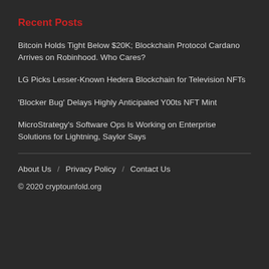Recent Posts
Bitcoin Holds Tight Below $20K; Blockchain Protocol Cardano Arrives on Robinhood. Who Cares?
LG Picks Lesser-Known Hedera Blockchain for Television NFTs
'Blocker Bug' Delays Highly Anticipated Y00ts NFT Mint
MicroStrategy's Software Ops Is Working on Enterprise Solutions for Lightning, Saylor Says
About Us / Privacy Policy / Contact Us
© 2020 cryptounfold.org